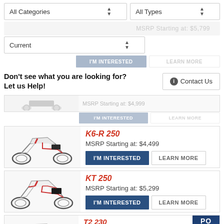All Categories (dropdown)
All Types (dropdown)
Current (dropdown)
MSRP Starting at: $5,799 (blurred)
Don't see what you are looking for? Let us Help!
Contact Us
MSRP Starting at: $4,999 (blurred above)
K6-R 250
MSRP Starting at: $4,499
KT 250
MSRP Starting at: $5,299
T2 230
MSRP Starting at: $2,499